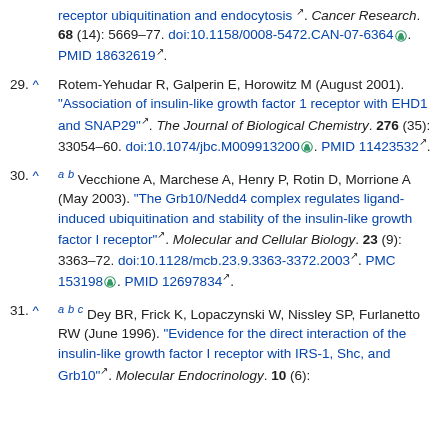receptor ubiquitination and endocytosis. Cancer Research. 68 (14): 5669–77. doi:10.1158/0008-5472.CAN-07-6364. PMID 18632619.
29. ^ Rotem-Yehudar R, Galperin E, Horowitz M (August 2001). "Association of insulin-like growth factor 1 receptor with EHD1 and SNAP29". The Journal of Biological Chemistry. 276 (35): 33054–60. doi:10.1074/jbc.M009913200. PMID 11423532.
30. ^ a b Vecchione A, Marchese A, Henry P, Rotin D, Morrione A (May 2003). "The Grb10/Nedd4 complex regulates ligand-induced ubiquitination and stability of the insulin-like growth factor I receptor". Molecular and Cellular Biology. 23 (9): 3363–72. doi:10.1128/mcb.23.9.3363-3372.2003. PMC 153198. PMID 12697834.
31. ^ a b c Dey BR, Frick K, Lopaczynski W, Nissley SP, Furlanetto RW (June 1996). "Evidence for the direct interaction of the insulin-like growth factor I receptor with IRS-1, Shc, and Grb10". Molecular Endocrinology. 10 (6):